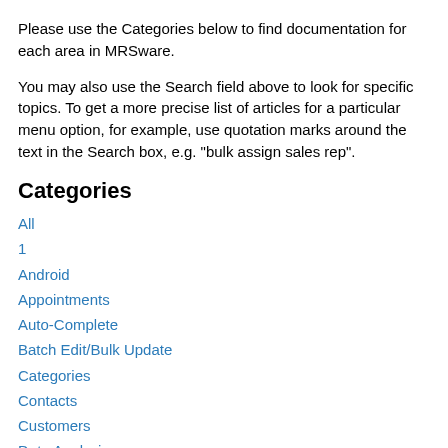Please use the Categories below to find documentation for each area in MRSware.
You may also use the Search field above to look for specific topics. To get a more precise list of articles for a particular menu option, for example, use quotation marks around the text in the Search box, e.g. "bulk assign sales rep".
Categories
All
1
Android
Appointments
Auto-Complete
Batch Edit/Bulk Update
Categories
Contacts
Customers
Data Analysis
Duplicate Removal